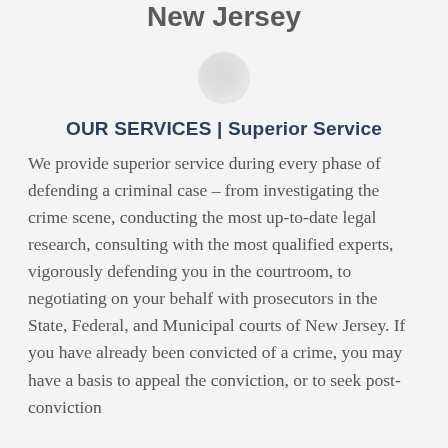Representing the Accused Throughout New Jersey
[Figure (illustration): Small circular decorative divider element, light gray gradient circle]
OUR SERVICES | Superior Service
We provide superior service during every phase of defending a criminal case – from investigating the crime scene, conducting the most up-to-date legal research, consulting with the most qualified experts, vigorously defending you in the courtroom, to negotiating on your behalf with prosecutors in the State, Federal, and Municipal courts of New Jersey. If you have already been convicted of a crime, you may have a basis to appeal the conviction, or to seek post-conviction